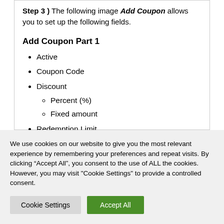Step 3 ) The following image Add Coupon allows you to set up the following fields.
Add Coupon Part 1
Active
Coupon Code
Discount
Percent (%)
Fixed amount
Redemption Limit
We use cookies on our website to give you the most relevant experience by remembering your preferences and repeat visits. By clicking “Accept All”, you consent to the use of ALL the cookies. However, you may visit "Cookie Settings" to provide a controlled consent.